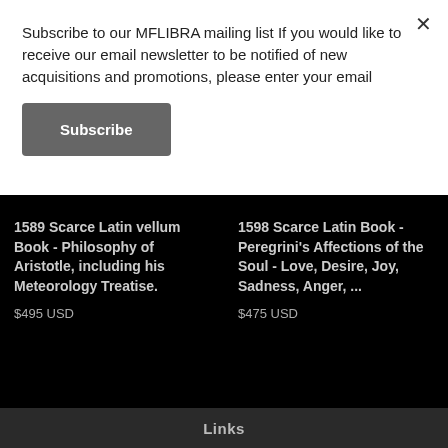Subscribe to our MFLIBRA mailing list If you would like to receive our email newsletter to be notified of new acquisitions and promotions, please enter your email
Subscribe
1589 Scarce Latin vellum Book - Philosophy of Aristotle, including his Meteorology Treatise.
$495 USD
1598 Scarce Latin Book - Peregrini's Affections of the Soul - Love, Desire, Joy, Sadness, Anger, ...
$475 USD
Links